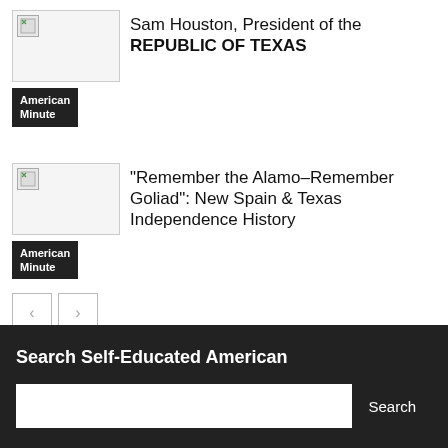[Figure (photo): Broken image placeholder for article about Sam Houston]
Sam Houston, President of the REPUBLIC OF TEXAS
American Minute
[Figure (photo): Broken image placeholder for article about Remember the Alamo]
“Remember the Alamo–Remember Goliad”: New Spain & Texas Independence History
American Minute
Search Self-Educated American
Search